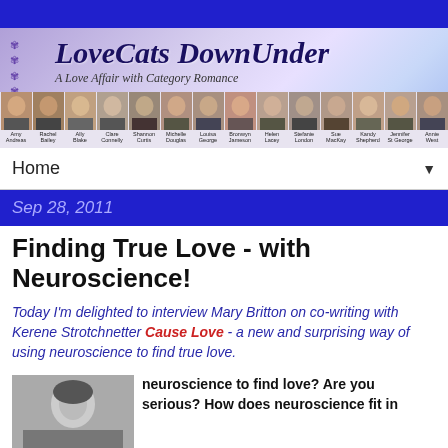[Figure (photo): Blue top bar]
[Figure (illustration): LoveCats DownUnder banner with purple/lavender gradient background, paw prints on left, italic serif title 'LoveCats DownUnder' and subtitle 'A Love Affair with Category Romance', row of author headshot photos with names below]
Home ▼
Sep 28, 2011
Finding True Love - with Neuroscience!
Today I'm delighted to interview Mary Britton on co-writing with Kerene Strotchnetter Cause Love - a new and surprising way of using neuroscience to find true love.
Hi Mary and welcome to the Lovecats. Firstly, I have to ask – neuroscience to find love? Are you serious? How does neuroscience fit in